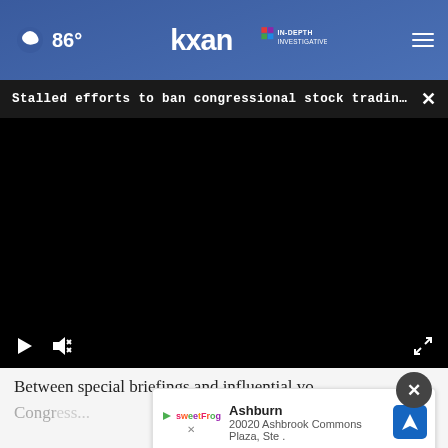🌙 86° | KXAN IN-DEPTH INVESTIGATIVE | ☰
Stalled efforts to ban congressional stock trading... ✕
[Figure (screenshot): Black video player area with play button, mute button, and fullscreen button controls at the bottom]
Between special briefings and influential vo
Congr
Ashburn
20020 Ashbrook Commons Plaza, Ste .